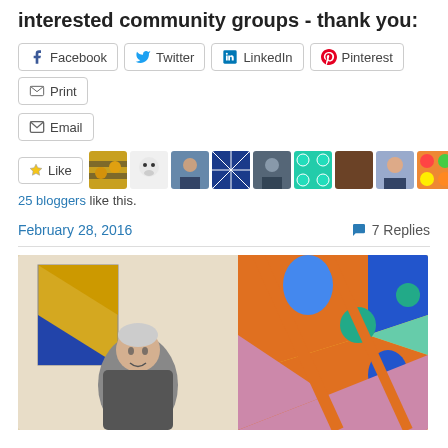interested community groups - thank you:
Facebook
Twitter
LinkedIn
Pinterest
Print
Email
[Figure (infographic): Like button with star icon followed by a row of 11 blogger avatar thumbnails]
25 bloggers like this.
February 28, 2016   7 Replies
[Figure (photo): Photo of an elderly person standing in front of a colorful abstract geometric mural with orange, blue, teal, yellow and pink shapes]